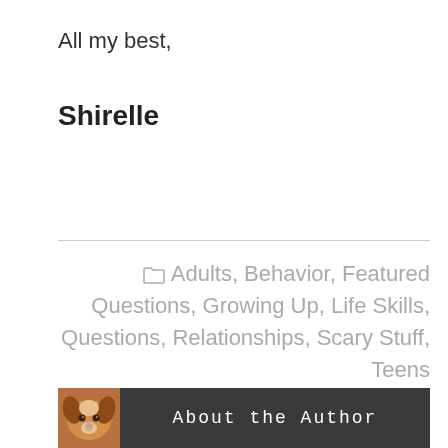All my best,
Shirelle
Adults, Behavior, Featured Questions, Growing Up, Life Skills, Questions, Relationships, Scary Stuff, Teens
[Figure (illustration): Dog photo and About the Author banner at bottom of page]